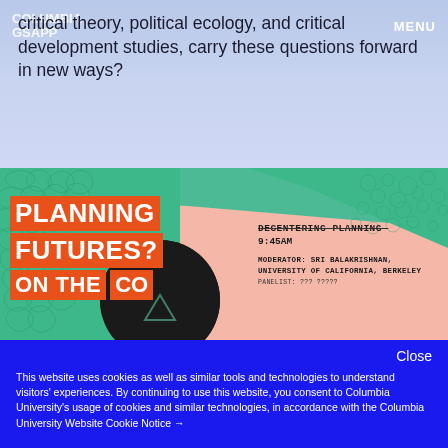COLUMBIA
GSAPP
MENU
critical theory, political ecology, and critical development studies, carry these questions forward in new ways?
[Figure (photo): Event banner for 'Planning Futures? On the Colonial' conference at Columbia GSAPP. The banner features bold orange text blocks reading 'PLANNING FUTURES? ON THE CO[LONIAL]', with teal/green geometric shapes and patterns on a pink background. A black circle overlaps the center. On the right side, handwritten-style text reads 'DECENTERING PLANNING 9:45AM' with 'MODERATOR: SRI BALAKRISHNAN, UNIVERSITY OF CALIFORNIA, BERKELEY' below.]
Close
This website uses cookies as well as similar tools and technologies to understand visitors' experiences. By continuing to use this website, you consent to Columbia University's usage of cookies and similar technologies, in accordance with the Columbia University Website Cookie Notice →